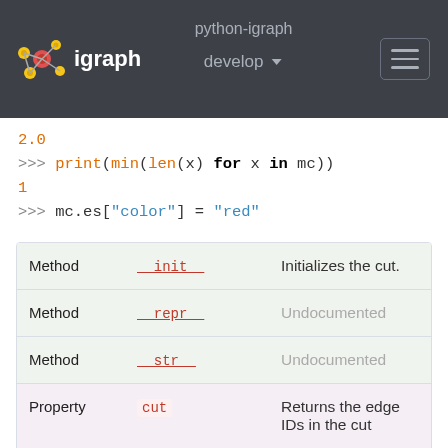python-igraph
igraph
develop
2.0
>>> print(min(len(x) for x in mc))
1
>>> mc.es["color"] = "red"
|  |  |  |
| --- | --- | --- |
| Method | __init__ | Initializes the cut. |
| Method | __repr__ | Undocumented |
| Method | __str__ | Undocumented |
| Property | cut | Returns the edge IDs in the cut |
|  |  | Returns an |